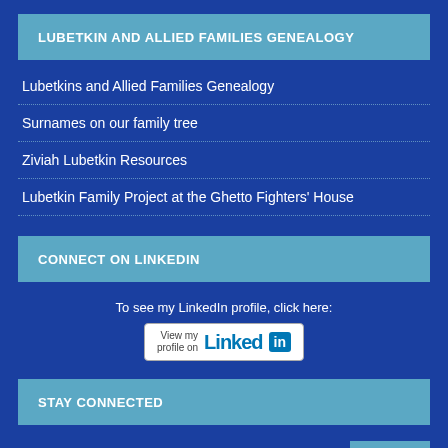LUBETKIN AND ALLIED FAMILIES GENEALOGY
Lubetkins and Allied Families Genealogy
Surnames on our family tree
Ziviah Lubetkin Resources
Lubetkin Family Project at the Ghetto Fighters' House
CONNECT ON LINKEDIN
To see my LinkedIn profile, click here:
[Figure (logo): LinkedIn 'View my profile on' badge button]
STAY CONNECTED
[Figure (infographic): Social media icons row: Facebook, Twitter, Vimeo, YouTube, and a back-to-top arrow button]